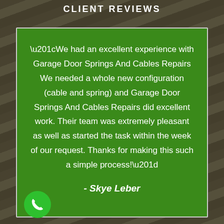CLIENT REVIEWS
“We had an excellent experience with Garage Door Springs And Cables Repairs We needed a whole new configuration (cable and spring) and Garage Door Springs And Cables Repairs did excellent work. Their team was extremely pleasant as well as started the task within the week of our request. Thanks for making this such a simple process!”
- Skye Leber